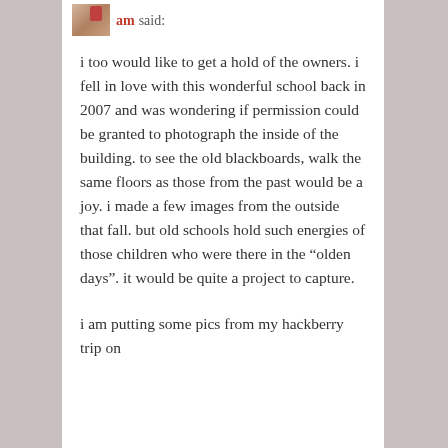am said:
i too would like to get a hold of the owners. i fell in love with this wonderful school back in 2007 and was wondering if permission could be granted to photograph the inside of the building. to see the old blackboards, walk the same floors as those from the past would be a joy. i made a few images from the outside that fall. but old schools hold such energies of those children who were there in the “olden days”. it would be quite a project to capture.
i am putting some pics from my hackberry trip on